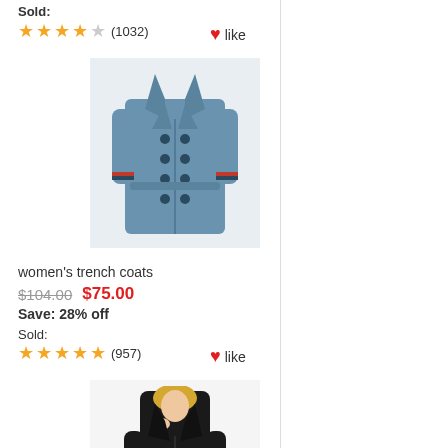Sold:
★★★★☆ (1032)   ♥ like
[Figure (photo): Blue women's trench coat with double-breasted buttons and striped cuff trim on light grey background]
women's trench coats
$104.00  $75.00
Save: 28% off
Sold:
★★★★★ (957)   ♥ like
[Figure (photo): Black women's trench coat worn by a blonde model on white background]